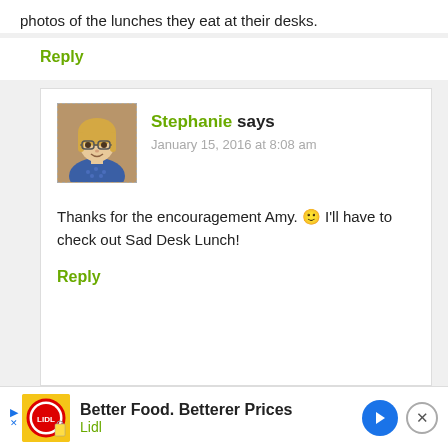photos of the lunches they eat at their desks.
Reply
[Figure (photo): Avatar photo of Stephanie, a woman with blonde hair and glasses wearing a blue patterned shirt]
Stephanie says
January 15, 2016 at 8:08 am
Thanks for the encouragement Amy. 🙂 I'll have to check out Sad Desk Lunch!
Reply
[Figure (infographic): Advertisement bar: Lidl logo with text 'Better Food. Betterer Prices' and 'Lidl', blue navigation arrow icon, and close button]